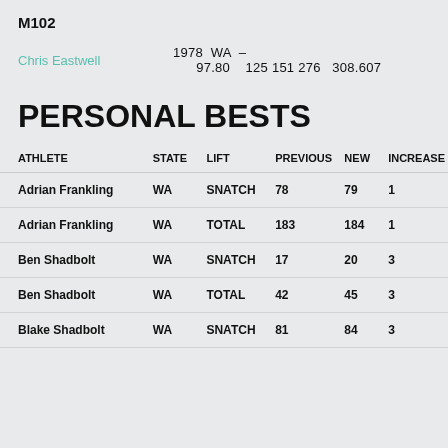M102
Chris Eastwell   1978  WA  –   97.80   125  151  276   308.607
PERSONAL BESTS
| ATHLETE | STATE | LIFT | PREVIOUS | NEW | INCREASE |
| --- | --- | --- | --- | --- | --- |
| Adrian Frankling | WA | SNATCH | 78 | 79 | 1 |
| Adrian Frankling | WA | TOTAL | 183 | 184 | 1 |
| Ben Shadbolt | WA | SNATCH | 17 | 20 | 3 |
| Ben Shadbolt | WA | TOTAL | 42 | 45 | 3 |
| Blake Shadbolt | WA | SNATCH | 81 | 84 | 3 |